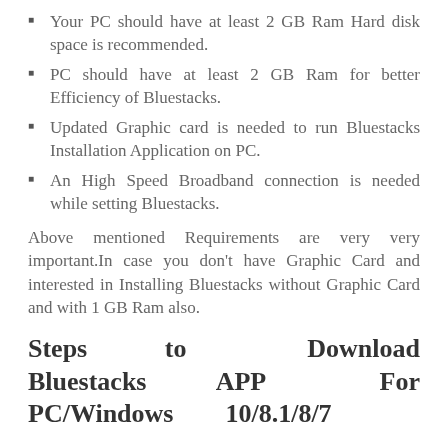Your PC should have at least 2 GB Ram Hard disk space is recommended.
PC should have at least 2 GB Ram for better Efficiency of Bluestacks.
Updated Graphic card is needed to run Bluestacks Installation Application on PC.
An High Speed Broadband connection is needed while setting Bluestacks.
Above mentioned Requirements are very very important.In case you don't have Graphic Card and interested in Installing Bluestacks without Graphic Card and with 1 GB Ram also.
Steps to Download Bluestacks APP For PC/Windows 10/8.1/8/7